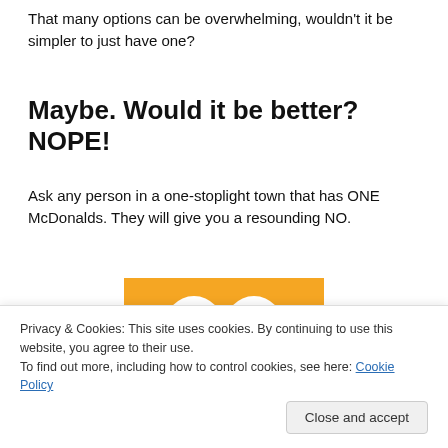That many options can be overwhelming, wouldn't it be simpler to just have one?
Maybe. Would it be better? NOPE!
Ask any person in a one-stoplight town that has ONE McDonalds. They will give you a resounding NO.
[Figure (photo): Kermit the Frog looking upward against an orange background]
Privacy & Cookies: This site uses cookies. By continuing to use this website, you agree to their use.
To find out more, including how to control cookies, see here: Cookie Policy
Close and accept